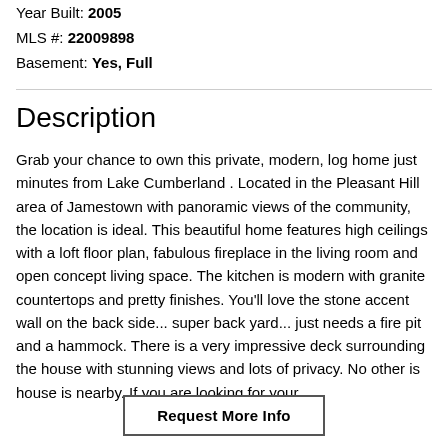Year Built: 2005
MLS #: 22009898
Basement: Yes, Full
Description
Grab your chance to own this private, modern, log home just minutes from Lake Cumberland . Located in the Pleasant Hill area of Jamestown with panoramic views of the community, the location is ideal. This beautiful home features high ceilings with a loft floor plan, fabulous fireplace in the living room and open concept living space. The kitchen is modern with granite countertops and pretty finishes. You'll love the stone accent wall on the back side... super back yard... just needs a fire pit and a hammock. There is a very impressive deck surrounding the house with stunning views and lots of privacy. No other is house is nearby. If you are looking for your...
Request More Info